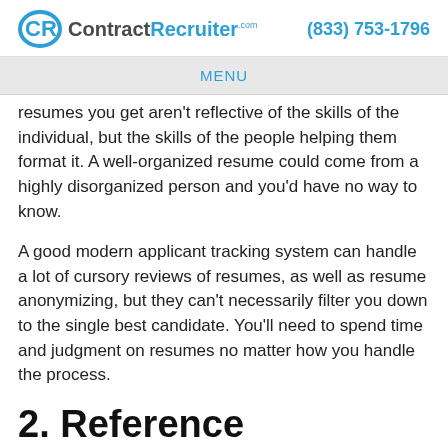ContractRecruiter.com  (833) 753-1796
MENU
resumes you get aren't reflective of the skills of the individual, but the skills of the people helping them format it. A well-organized resume could come from a highly disorganized person and you'd have no way to know.
A good modern applicant tracking system can handle a lot of cursory reviews of resumes, as well as resume anonymizing, but they can't necessarily filter you down to the single best candidate. You'll need to spend time and judgment on resumes no matter how you handle the process.
2. Reference